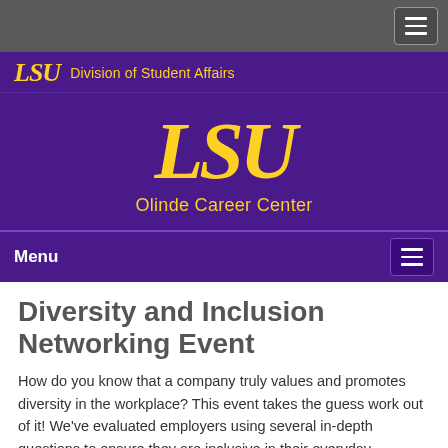[Figure (screenshot): LSU Division of Student Affairs / Olinde Career Center website header with purple background, gold LSU logos, and navigation menu bar]
Diversity and Inclusion Networking Event
How do you know that a company truly values and promotes diversity in the workplace? This event takes the guess work out of it! We've evaluated employers using several in-depth questions to ensure they are inclusive in their everyday practices. Network and learn more about those companies to hear about their practices and potential internships, co-ops, part-time and full-time opportunities.